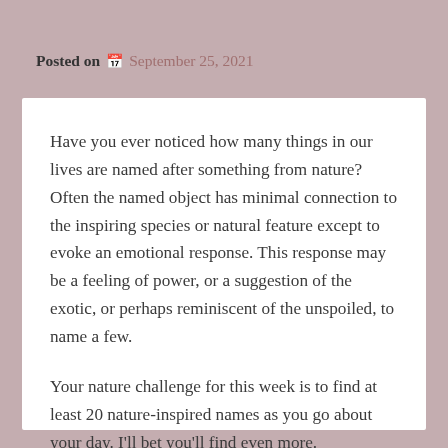Posted on  September 25, 2021
Have you ever noticed how many things in our lives are named after something from nature?  Often the named object has minimal connection to the inspiring species or natural feature except to evoke an emotional response.  This response may be a feeling of power, or a suggestion of the exotic, or perhaps reminiscent of the unspoiled, to name a few.
Your nature challenge for this week is to find at least 20 nature-inspired names as you go about your day.  I'll bet you'll find even more.